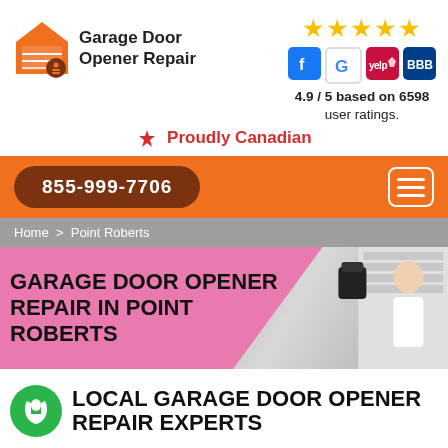[Figure (logo): Garage Door Opener Repair company logo with orange house/garage icon and company name]
[Figure (infographic): 5 gold stars rating with Facebook, Google, Yelp, BBB icons and text '4.9 / 5 based on 6598 user ratings.']
🍁 Proudly Canadian
855-999-7706
Home > Point Roberts
GARAGE DOOR OPENER REPAIR IN POINT ROBERTS
LOCAL GARAGE DOOR OPENER REPAIR EXPERTS